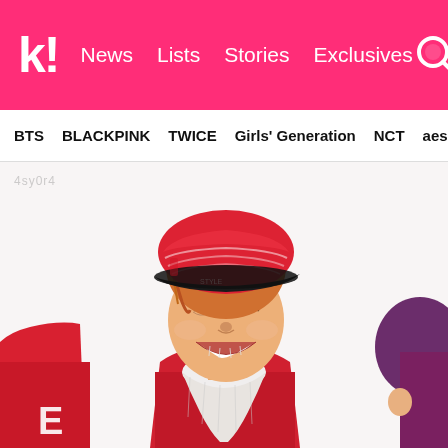K! News  Lists  Stories  Exclusives
BTS  BLACKPINK  TWICE  Girls' Generation  NCT  aespa
[Figure (photo): A K-pop idol (male, with orange/auburn hair, wearing a red and black striped snapback cap, red jacket and white patterned scarf) laughing/smiling broadly. Partial view of another person in red on the left edge, and another person with purple hat on the right edge. Background is white/light.]